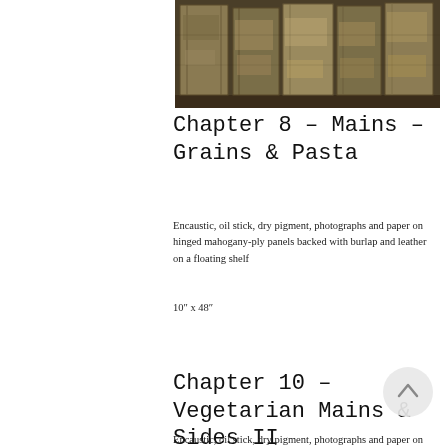[Figure (photo): Row of old worn journals/books on a shelf, textured covers with earthy tones]
Chapter 8 – Mains – Grains & Pasta
Encaustic, oil stick, dry pigment, photographs and paper on hinged mahogany-ply panels backed with burlap and leather on a floating shelf
10″ x 48″
Chapter 10 – Vegetarian Mains & Sides II
Encaustic, oil stick, dry pigment, photographs and paper on hinged mahogany-ply panels backed with burla…